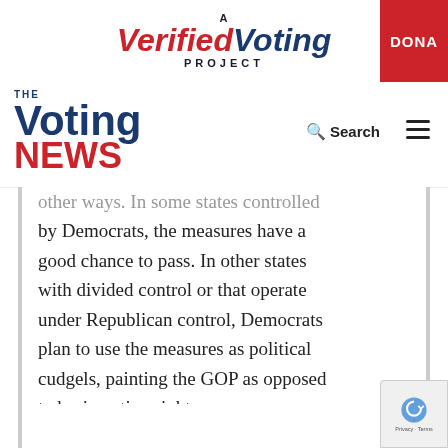[Figure (logo): A Verified Voting Project logo with red and blue text, and a red DONATE button on the right]
[Figure (logo): The Voting News logo in blue and red with Search and hamburger menu icons]
other ways. In some states controlled by Democrats, the measures have a good chance to pass. In other states with divided control or that operate under Republican control, Democrats plan to use the measures as political cudgels, painting the GOP as opposed to basic voting rights.